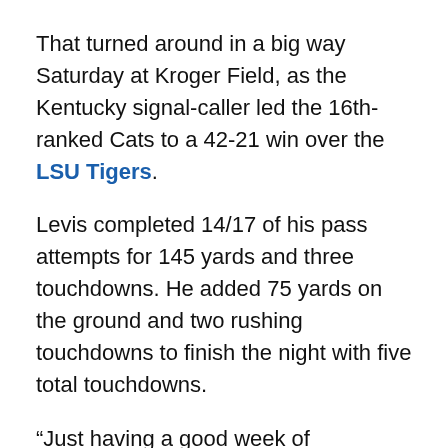That turned around in a big way Saturday at Kroger Field, as the Kentucky signal-caller led the 16th-ranked Cats to a 42-21 win over the LSU Tigers.
Levis completed 14/17 of his pass attempts for 145 yards and three touchdowns. He added 75 yards on the ground and two rushing touchdowns to finish the night with five total touchdowns.
“Just having a good week of preparation and really trusting my timing and footwork with everything,” Levis said after the game. “Pass game that we had tonight, obviously I could have had some better throws accuracy-wise, but just my decision-making and my ball placement for the most part were pretty good when it needed to be. Just comes with good preparation and trust in the timing and progression of everything.”